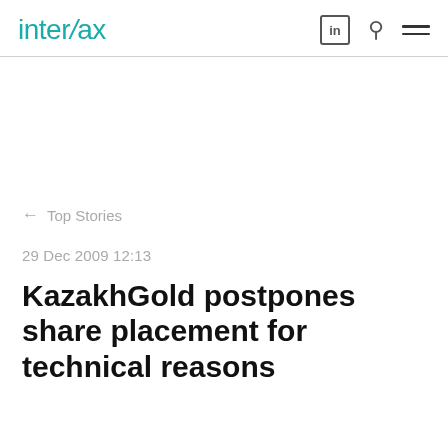Interfax
← Top Stories
29 Dec 2009 12:13
KazakhGold postpones share placement for technical reasons